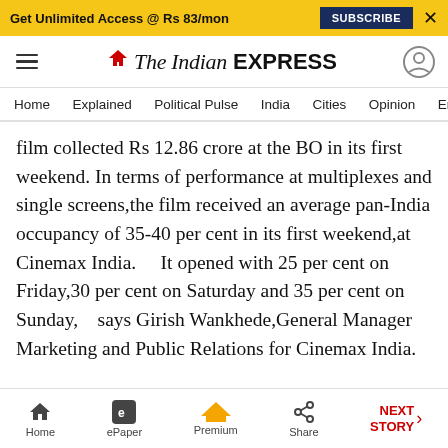Get Unlimited Access @ Rs 83/mon  SUBSCRIBE  X
The Indian EXPRESS
Home  Explained  Political Pulse  India  Cities  Opinion  Entertainment
film collected Rs 12.86 crore at the BO in its first weekend. In terms of performance at multiplexes and single screens,the film received an average pan-India occupancy of 35-40 per cent in its first weekend,at Cinemax India.    It opened with 25 per cent on Friday,30 per cent on Saturday and 35 per cent on Sunday,    says Girish Wankhede,General Manager Marketing and Public Relations for Cinemax India.
Home  ePaper  Premium  Share  NEXT STORY